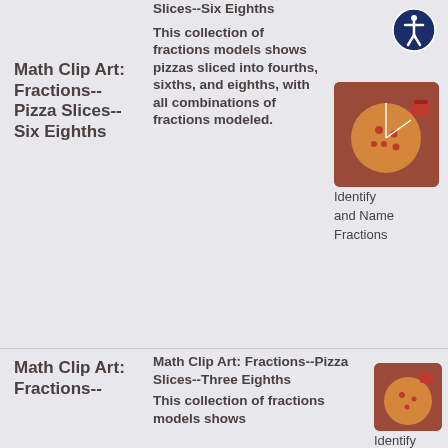Math Clip Art: Fractions--Pizza Slices--Six Eighths
Slices--Six Eighths
This collection of fractions models shows pizzas sliced into fourths, sixths, and eighths, with all combinations of fractions modeled.
[Figure (photo): Pizza sliced into sections on a dark red/brown background, showing fraction model]
Identify and Name Fractions
Math Clip Art: Fractions--
Math Clip Art: Fractions--Pizza Slices--Three Eighths
This collection of fractions models shows
[Figure (photo): Pizza fraction image on dark red background, partially visible]